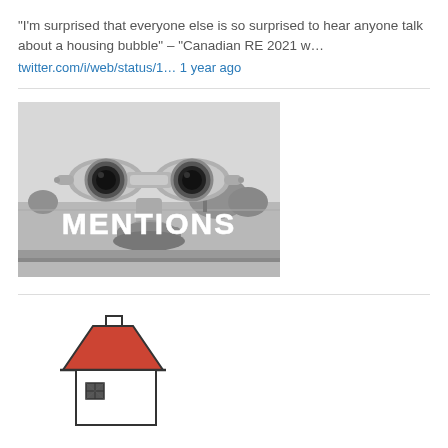“I’m surprised that everyone else is so surprised to hear anyone talk about a housing bubble” – “Canadian RE 2021 w…
twitter.com/i/web/status/1… 1 year ago
[Figure (photo): Black and white photo of a coin-operated binocular viewer with the word MENTIONS overlaid in large white text]
[Figure (illustration): Simple line drawing illustration of a small house with a red triangular roof and a chimney, partially visible at the bottom of the page]